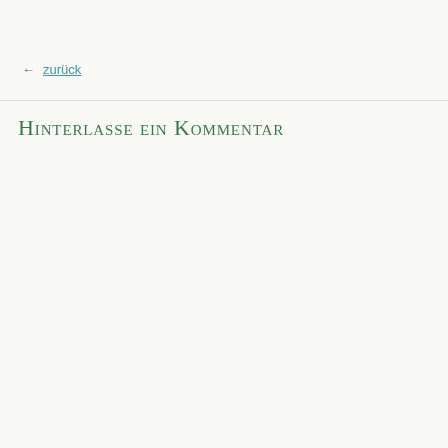← zurück
Hinterlasse ein Kommentar